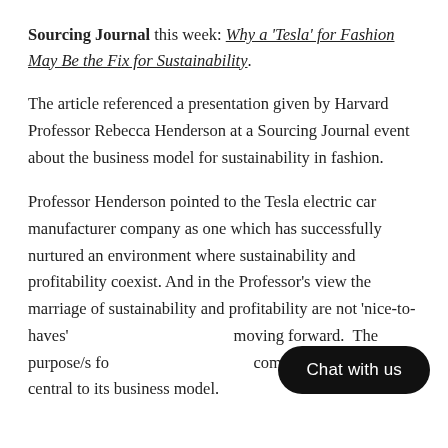Sourcing Journal this week: Why a 'Tesla' for Fashion May Be the Fix for Sustainability.
The article referenced a presentation given by Harvard Professor Rebecca Henderson at a Sourcing Journal event about the business model for sustainability in fashion.
Professor Henderson pointed to the Tesla electric car manufacturer company as one which has successfully nurtured an environment where sustainability and profitability coexist. And in the Professor's view the marriage of sustainability and profitability are not 'nice-to-haves' moving forward.  The purpose/s for company exists must be central to its business model.